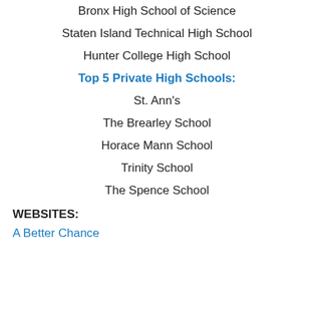Bronx High School of Science
Staten Island Technical High School
Hunter College High School
Top 5 Private High Schools:
St. Ann's
The Brearley School
Horace Mann School
Trinity School
The Spence School
WEBSITES:
A Better Chance